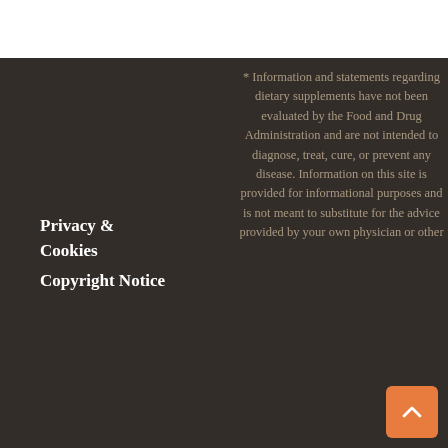Privacy & Cookies
Copyright Notice
* Information and statements regarding dietary supplements have not been evaluated by the Food and Drug Administration and are not intended to diagnose, treat, cure, or prevent any disease. Information on this site is provided for informational purposes and is not meant to substitute for the advice provided by your own physician or other